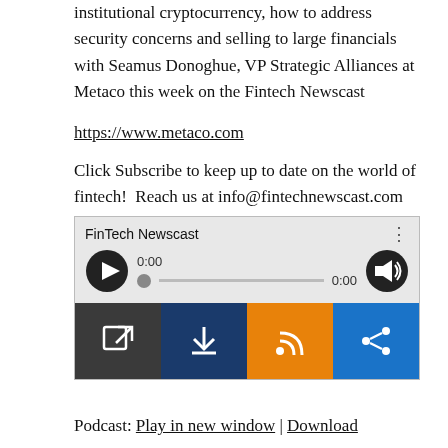institutional cryptocurrency, how to address security concerns and selling to large financials with Seamus Donoghue, VP Strategic Alliances at Metaco this week on the Fintech Newscast
https://www.metaco.com
Click Subscribe to keep up to date on the world of fintech!  Reach us at info@fintechnewscast.com or at @fintechnewscast on Twitter
[Figure (screenshot): Audio player widget for FinTech Newscast podcast. Shows play button, progress bar at 0:00, volume button, and four action buttons: open in new window (dark grey), download (navy), RSS feed (orange), share (blue).]
Podcast: Play in new window | Download